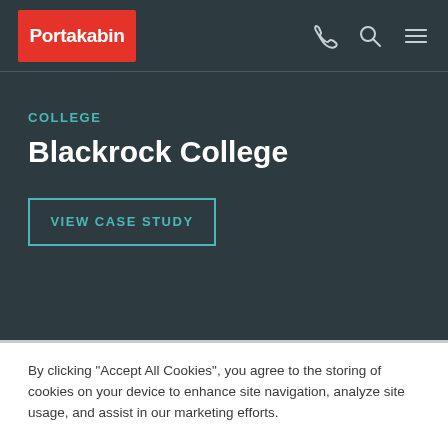Portakabin
COLLEGE
Blackrock College
VIEW CASE STUDY
By clicking "Accept All Cookies", you agree to the storing of cookies on your device to enhance site navigation, analyze site usage, and assist in our marketing efforts.
Cookies Settings
Accept All Cookies